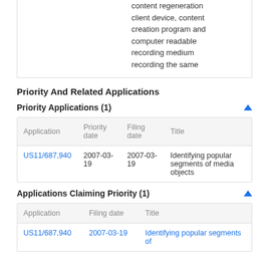|  |  |
| --- | --- |
|  | content regeneration client device, content creation program and computer readable recording medium recording the same |
Priority And Related Applications
Priority Applications (1)
| Application | Priority date | Filing date | Title |
| --- | --- | --- | --- |
| US11/687,940 | 2007-03-19 | 2007-03-19 | Identifying popular segments of media objects |
Applications Claiming Priority (1)
| Application | Filing date | Title |
| --- | --- | --- |
| US11/687,940 | 2007-03-19 | Identifying popular segments of |